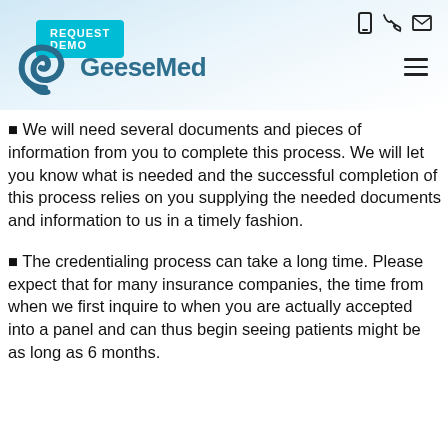[Figure (logo): GeeseMed logo with teal swirl graphic and teal company name text]
We will need several documents and pieces of information from you to complete this process. We will let you know what is needed and the successful completion of this process relies on you supplying the needed documents and information to us in a timely fashion.
The credentialing process can take a long time. Please expect that for many insurance companies, the time from when we first inquire to when you are actually accepted into a panel and can thus begin seeing patients might be as long as 6 months.